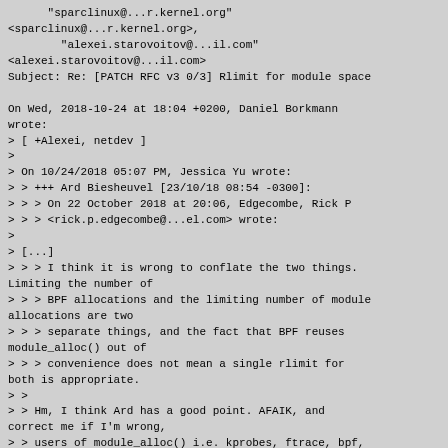"sparclinux@...r.kernel.org"
<sparclinux@...r.kernel.org>,
        "alexei.starovoitov@...il.com"
<alexei.starovoitov@...il.com>
Subject: Re: [PATCH RFC v3 0/3] Rlimit for module space

On Wed, 2018-10-24 at 18:04 +0200, Daniel Borkmann
wrote:
> [ +Alexei, netdev ]
>
> On 10/24/2018 05:07 PM, Jessica Yu wrote:
> > +++ Ard Biesheuvel [23/10/18 08:54 -0300]:
> > > On 22 October 2018 at 20:06, Edgecombe, Rick P
> > > <rick.p.edgecombe@...el.com> wrote:
>
> [...]
> > > I think it is wrong to conflate the two things. Limiting the number of
> > > BPF allocations and the limiting number of module allocations are two
> > > separate things, and the fact that BPF reuses module_alloc() out of
> > > convenience does not mean a single rlimit for both is appropriate.
> >
> > Hm, I think Ard has a good point. AFAIK, and correct me if I'm wrong,
> > users of module_alloc() i.e. kprobes, ftrace, bpf, seem to use it
> > because it is an easy way to obtain executable